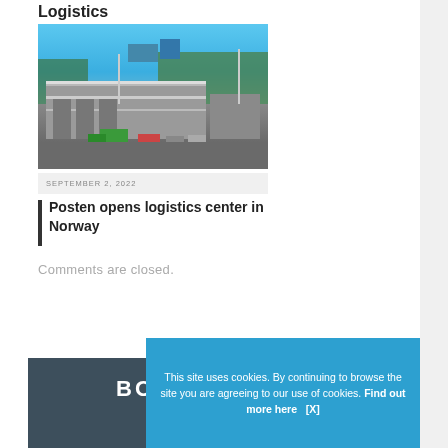Logistics
[Figure (photo): Aerial photo of a logistics center / warehouse building with trucks and vehicles in the parking area, green and blue equipment visible, forest and blue sky in the background]
SEPTEMBER 2, 2022
Posten opens logistics center in Norway
Comments are closed.
[Figure (logo): BOWE.COM logo in white text on dark grey/blue background]
This site uses cookies. By continuing to browse the site you are agreeing to our use of cookies. Find out more here    [X]